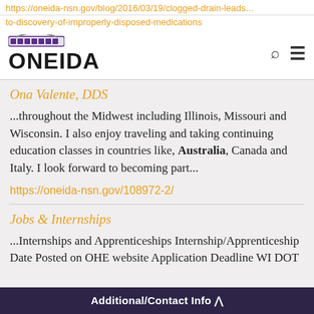https://oneida-nsn.gov/blog/2016/03/19/clogged-drain-leads...
to-discovery-of-improperly-disposed-medications
ONEIDA
Ona Valente, DDS
...throughout the Midwest including Illinois, Missouri and Wisconsin. I also enjoy traveling and taking continuing education classes in countries like, Australia, Canada and Italy. I look forward to becoming part...
https://oneida-nsn.gov/108972-2/
Jobs & Internships
...Internships and Apprenticeships Internship/Apprenticeship Date Posted on OHE website Application Deadline WI DOT
Additional/Contact Info ∧